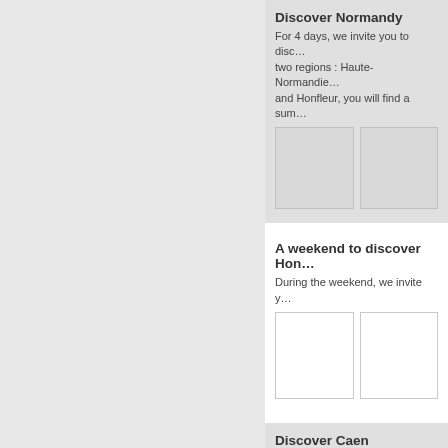Discover Normandy
For 4 days, we invite you to disc… two regions : Haute-Normandie… and Honfleur, you will find a sum…
[Figure (photo): Two image placeholders for Normandy section]
A weekend to discover Hon…
During the weekend, we invite y…
[Figure (photo): Two image placeholders for Honfleur weekend section]
Discover Caen
The architectural and historical h…
[Figure (photo): Two image placeholders for Caen section]